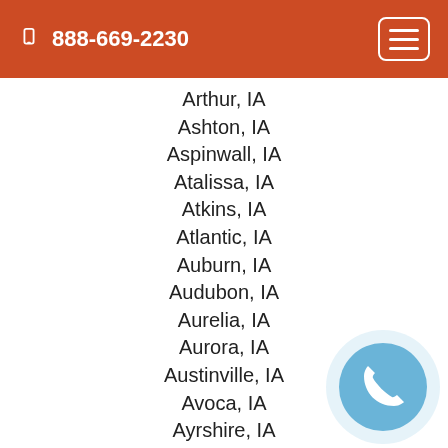888-669-2230
Arthur, IA
Ashton, IA
Aspinwall, IA
Atalissa, IA
Atkins, IA
Atlantic, IA
Auburn, IA
Audubon, IA
Aurelia, IA
Aurora, IA
Austinville, IA
Avoca, IA
Ayrshire, IA
Badger, IA
Bagley, IA
Baldwin, IA
Bancroft, IA
Barnes City, IA
[Figure (illustration): Circular phone button icon with light blue background and white handset symbol]